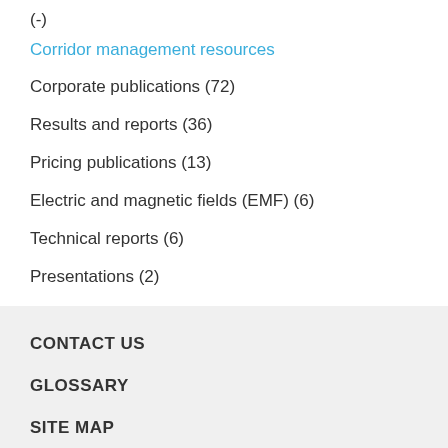(-)
Corridor management resources
Corporate publications (72)
Results and reports (36)
Pricing publications (13)
Electric and magnetic fields (EMF) (6)
Technical reports (6)
Presentations (2)
CONTACT US
GLOSSARY
SITE MAP